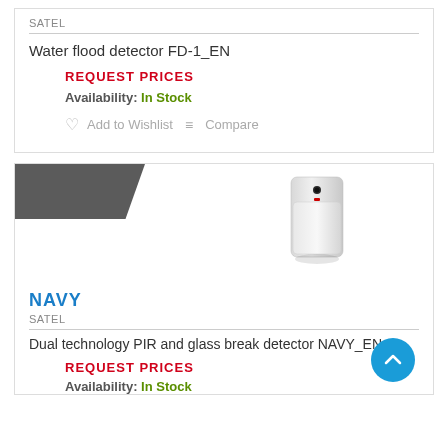SATEL
Water flood detector FD-1_EN
REQUEST PRICES
Availability: In Stock
Add to Wishlist   Compare
[Figure (photo): PIR motion detector sensor device - white rectangular device with black dot and red indicator]
NAVY
SATEL
Dual technology PIR and glass break detector NAVY_EN
REQUEST PRICES
Availability: In Stock